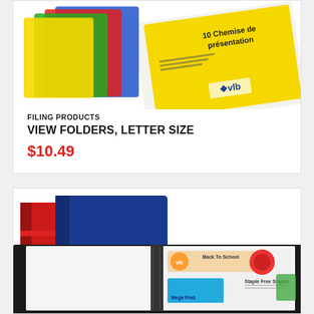[Figure (photo): Product photo of VLB view folders/presentation folders, yellow packaging with colorful folder tabs visible, label reads '10 Chemise de présentation']
FILING PRODUCTS
VIEW FOLDERS, LETTER SIZE
$10.49
[Figure (photo): Product photo of presentation/display books in red, blue, and black colors, one open showing white pages and a 'VLB Back To School' catalog insert. Items include 'Staple Free Stapler' and 'Mega Find' products.]